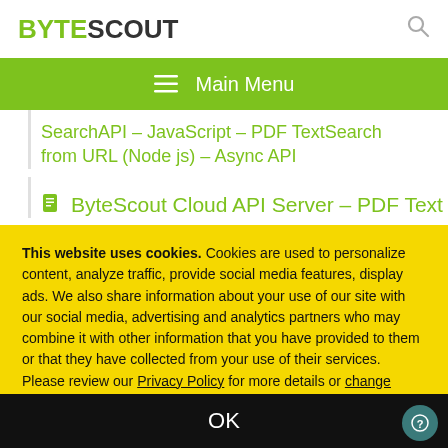BYTESCOUT
Main Menu
SearchAPI – JavaScript – PDF TextSearch from URL (Node js) – Async API
ByteScout Cloud API Server – PDF Text
This website uses cookies. Cookies are used to personalize content, analyze traffic, provide social media features, display ads. We also share information about your use of our site with our social media, advertising and analytics partners who may combine it with other information that you have provided to them or that they have collected from your use of their services. Please review our Privacy Policy for more details or change cookies settings. By closing this banner or by clicking a link or continuing to browse otherwise, you consent to our cookies.
OK